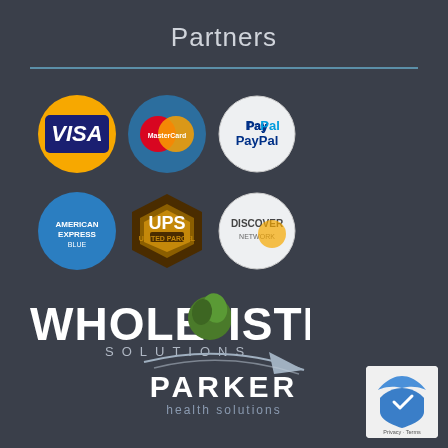Partners
[Figure (logo): VISA circular logo with gold/orange border and blue center]
[Figure (logo): MasterCard circular logo with overlapping red and orange circles on blue background]
[Figure (logo): PayPal circular logo on light gray background]
[Figure (logo): American Express circular logo in blue]
[Figure (logo): UPS circular shield logo in brown and gold]
[Figure (logo): Discover Network circular logo on light gray background]
[Figure (logo): Wholistic Solutions logo with plant graphic]
[Figure (logo): Parker Health Solutions logo with swoosh/arrow graphic]